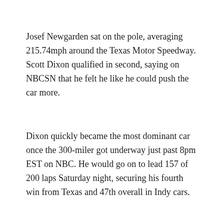Josef Newgarden sat on the pole, averaging 215.74mph around the Texas Motor Speedway. Scott Dixon qualified in second, saying on NBCSN that he felt he like he could push the car more.
Dixon quickly became the most dominant car once the 300-miler got underway just past 8pm EST on NBC. He would go on to lead 157 of 200 laps Saturday night, securing his fourth win from Texas and 47th overall in Indy cars.